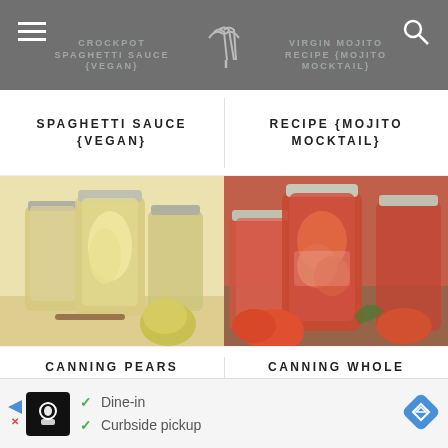CROCKPOT | VIRGIN MOJITO
SPAGHETTI SAUCE {VEGAN}
RECIPE {MOJITO MOCKTAIL}
[Figure (photo): Glass jars of canned pears in syrup with fresh pears beside them]
[Figure (photo): Glass mason jars filled with canned whole tomatoes with fresh tomatoes in foreground]
CANNING PEARS {PRESERVED PEARS}
CANNING WHOLE TOMATOES {HOW TO CAN TOMATOES}
[Figure (other): Advertisement banner: Dine-in and Curbside pickup]